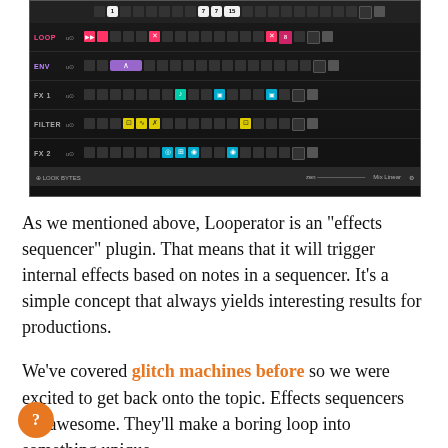[Figure (screenshot): Screenshot of Looperator effects sequencer plugin UI showing rows: SLICE, LOOP, ENV, FX 1, FILTER, FX 2 with colored step sequencer cells and buttons]
As we mentioned above, Looperator is an "effects sequencer" plugin. That means that it will trigger internal effects based on notes in a sequencer. It's a simple concept that always yields interesting results for productions.
We've covered glitch machines before so we were excited to get back onto the topic. Effects sequencers are awesome. They'll make a boring loop into something unique